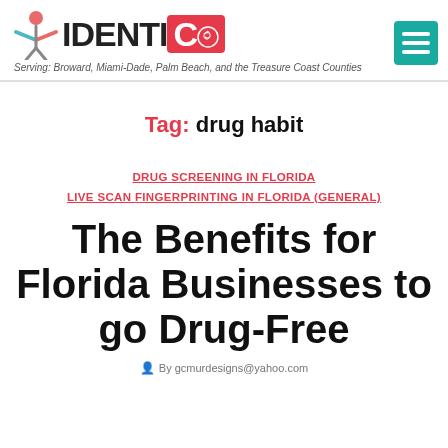IDENTICO — Serving: Broward, Miami-Dade, Palm Beach, and the Treasure Coast Counties
Tag: drug habit
DRUG SCREENING IN FLORIDA
LIVE SCAN FINGERPRINTING IN FLORIDA (GENERAL)
The Benefits for Florida Businesses to go Drug-Free
By gcmurdesigns@yahoo.com